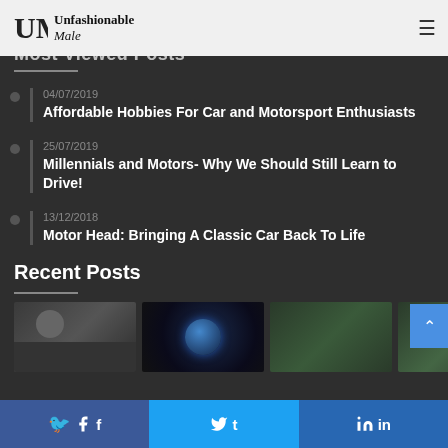Unfashionable Male
Most Viewed Posts
04/07/2019 — Affordable Hobbies For Car and Motorsport Enthusiasts
25/07/2019 — Millennials and Motors- Why We Should Still Learn to Drive!
13/12/2018 — Motor Head: Bringing A Classic Car Back To Life
Recent Posts
[Figure (photo): Three thumbnail images of recent posts: a person in dark clothing, a camera lens, and a group of people outdoors]
Facebook  Twitter  in